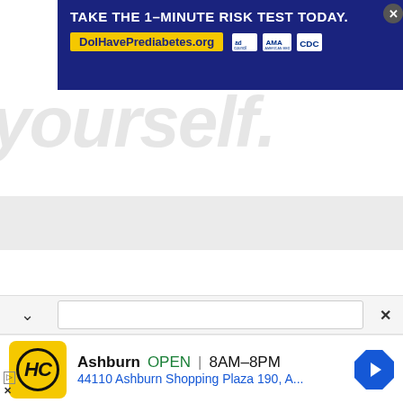[Figure (screenshot): Web browser screenshot showing a prediabetes awareness banner ad at the top reading 'TAKE THE 1-MINUTE RISK TEST TODAY.' with URL DolHavePrediabetes.org and logos for Ad Council, AMA, and CDC. Below is faded background text reading 'yourself.' with a gray strip. A search bar with chevron and close button is visible. A bottom ad card shows HC logo, Ashburn location OPEN 8AM-8PM, address 44110 Ashburn Shopping Plaza 190, A... with navigation arrow icon.]